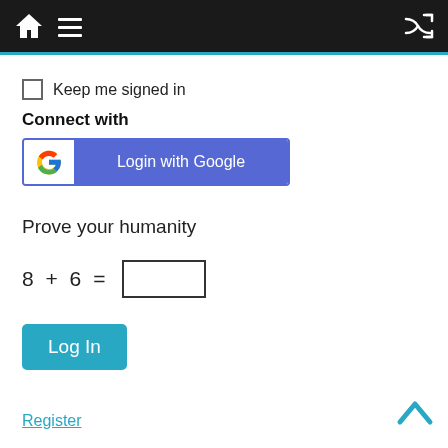Navigation bar with home icon, hamburger menu, and shuffle icon
Keep me signed in
Connect with
[Figure (screenshot): Login with Google button showing Google G logo on white background and 'Login with Google' text on blue/indigo background]
Prove your humanity
Log In
Register